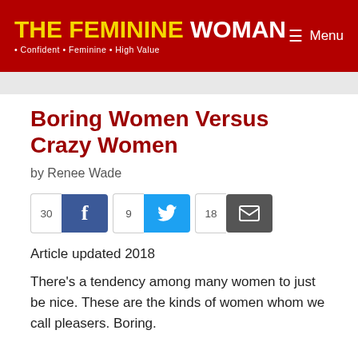THE FEMININE WOMAN · Confident · Feminine · High Value
Boring Women Versus Crazy Women
by Renee Wade
[Figure (infographic): Social share buttons row: 30 Facebook shares, 9 Twitter shares, 18 email shares]
Article updated 2018
There's a tendency among many women to just be nice. These are the kinds of women whom we call pleasers. Boring.